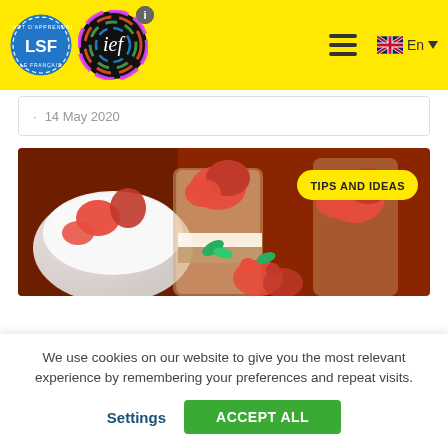[Figure (logo): LSF (L'Art d'Apprendre le Français) blue circular logo and IEF colorful circular logo with info icon, yellow background header with hamburger menu and English language selector]
· 14 May 2020
[Figure (photo): Close-up photo of strawberries in glass jars and a white bowl, with a yellow 'TIPS AND IDEAS' badge overlay]
We use cookies on our website to give you the most relevant experience by remembering your preferences and repeat visits.
Settings
ACCEPT ALL